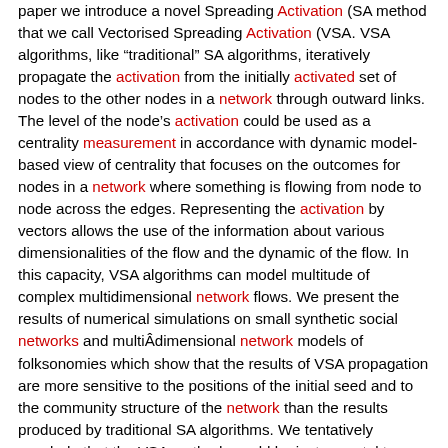paper we introduce a novel Spreading Activation (SA method that we call Vectorised Spreading Activation (VSA. VSA algorithms, like “traditional” SA algorithms, iteratively propagate the activation from the initially activated set of nodes to the other nodes in a network through outward links. The level of the node’s activation could be used as a centrality measurement in accordance with dynamic model-based view of centrality that focuses on the outcomes for nodes in a network where something is flowing from node to node across the edges. Representing the activation by vectors allows the use of the information about various dimensionalities of the flow and the dynamic of the flow. In this capacity, VSA algorithms can model multitude of complex multidimensional network flows. We present the results of numerical simulations on small synthetic social networks and multiÂdimensional network models of folksonomies which show that the results of VSA propagation are more sensitive to the positions of the initial seed and to the community structure of the network than the results produced by traditional SA algorithms. We tentatively conclude that the VSA methods could be instrumental to develop scalable and computationally efficient algorithms which could achieve synergy between computation of centrality indexes with detection of community structures in networks. Based on our